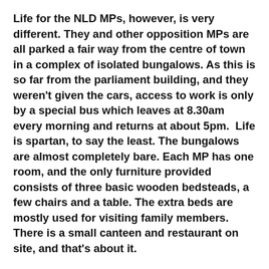Life for the NLD MPs, however, is very different. They and other opposition MPs are all parked a fair way from the centre of town in a complex of isolated bungalows. As this is so far from the parliament building, and they weren't given the cars, access to work is only by a special bus which leaves at 8.30am every morning and returns at about 5pm.  Life is spartan, to say the least. The bungalows are almost completely bare. Each MP has one room, and the only furniture provided consists of three basic wooden bedsteads, a few chairs and a table. The extra beds are mostly used for visiting family members.  There is a small canteen and restaurant on site, and that's about it.
Access is monitored by the government. I was stopped and questioned by a plainclothes "immigration official". As Naypyidaw is so far away from anywhere the majority of MPs don't bother to try to get out to Yangon or elsewhere  for weekends, so they are often stuck here for weeks on end while parliament is sitting. Ms Suu Kyi does slightly better with a separate house a few miles away...